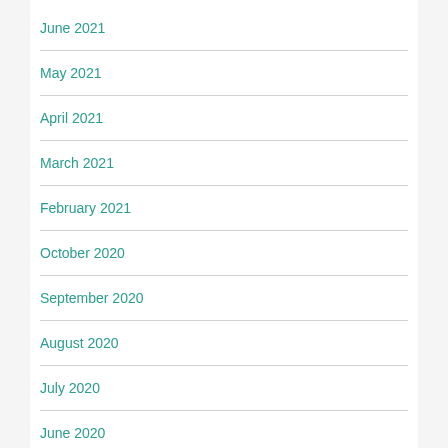June 2021
May 2021
April 2021
March 2021
February 2021
October 2020
September 2020
August 2020
July 2020
June 2020